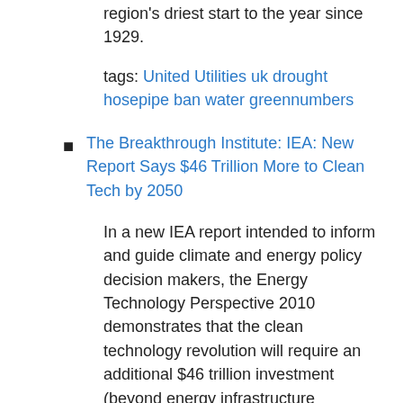region's driest start to the year since 1929.
tags: United Utilities uk drought hosepipe ban water greennumbers
The Breakthrough Institute: IEA: New Report Says $46 Trillion More to Clean Tech by 2050
In a new IEA report intended to inform and guide climate and energy policy decision makers, the Energy Technology Perspective 2010 demonstrates that the clean technology revolution will require an additional $46 trillion investment (beyond energy infrastructure investment expected in BAU scenarios) if we intend to halve carbon emissions by 2050 (from 2005 levels). And, the IEA adds, a carbon price alone will not be sufficient to drive that level of investment.